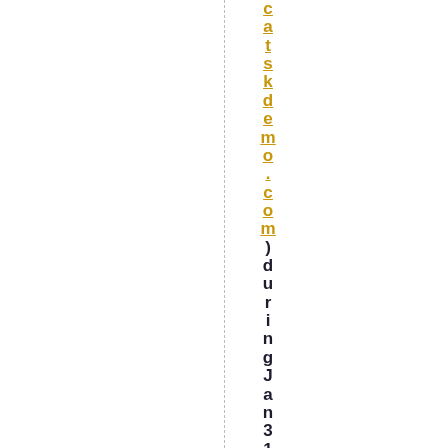catskdemo.com) during Jan 31 event